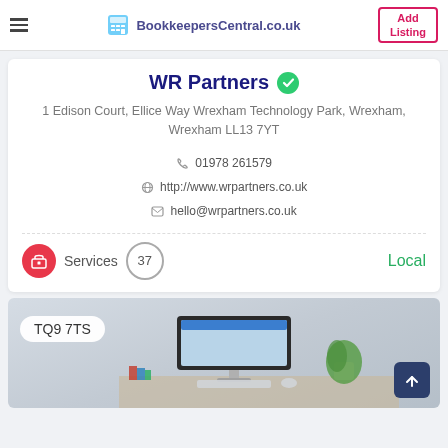BookkeepersCentral.co.uk | Add Listing
WR Partners
1 Edison Court, Ellice Way Wrexham Technology Park, Wrexham, Wrexham LL13 7YT
01978 261579
http://www.wrpartners.co.uk
hello@wrpartners.co.uk
Services  37  Local
[Figure (photo): A desk scene featuring an iMac computer, a plant, books, and office accessories. A postcode badge reading TQ9 7TS is overlaid on the image.]